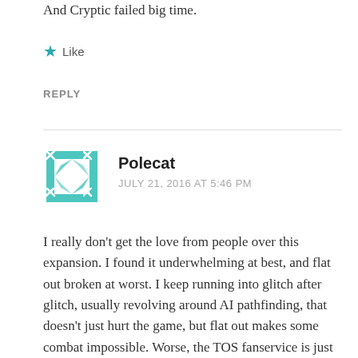And Cryptic failed big time.
Like
REPLY
[Figure (illustration): Teal/green geometric avatar icon for user Polecat]
Polecat
JULY 21, 2016 AT 5:46 PM
I really don't get the love from people over this expansion. I found it underwhelming at best, and flat out broken at worst. I keep running into glitch after glitch, usually revolving around AI pathfinding, that doesn't just hurt the game, but flat out makes some combat impossible. Worse, the TOS fanservice is just bad. Sure, I grew up watching TOS in syndication thanks to a Trekkie for a